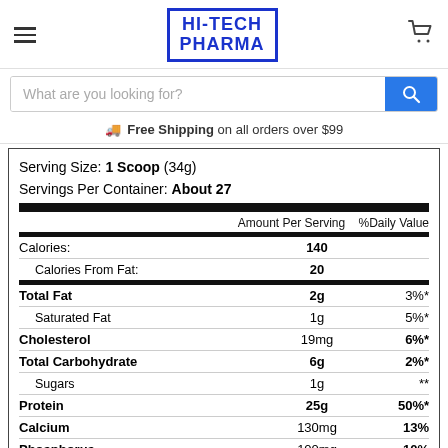HI-TECH PHARMA
What are you looking for?
Free Shipping on all orders over $99
|  | Amount Per Serving | %Daily Value |
| --- | --- | --- |
| Serving Size: 1 Scoop (34g)
Servings Per Container: About 27 |  |  |
| Calories: | 140 |  |
| Calories From Fat: | 20 |  |
| Total Fat | 2g | 3%* |
| Saturated Fat | 1g | 5%* |
| Cholesterol | 19mg | 6%* |
| Total Carbohydrate | 6g | 2%* |
| Sugars | 1g | ** |
| Protein | 25g | 50%* |
| Calcium | 130mg | 13% |
| Phosphorus | 100mg | 10% |